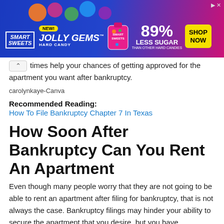[Figure (photo): Smart Sweets Jolly Gems Hard Candy advertisement banner. Blue and pink gradient background with candy graphics. Text reads: NEW! JOLLY GEMS Hard Candy, 89% Less Sugar than other hard candies, SHOP NOW button. Smart Sweets logo at left.]
times help your chances of getting approved for the apartment you want after bankruptcy.
carolynkaye-Canva
Recommended Reading: How To File Bankruptcy Chapter 7 In Texas
How Soon After Bankruptcy Can You Rent An Apartment
Even though many people worry that they are not going to be able to rent an apartment after filing for bankruptcy, that is not always the case. Bankruptcy filings may hinder your ability to secure the apartment that you desire, but you have